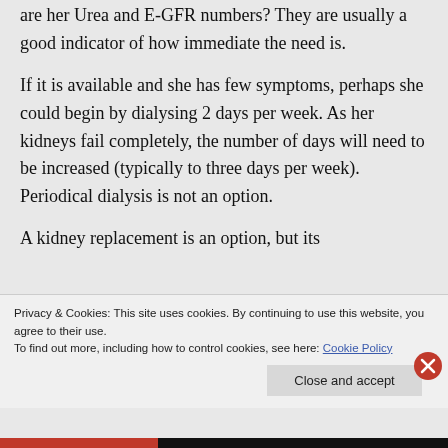are her Urea and E-GFR numbers? They are usually a good indicator of how immediate the need is.
If it is available and she has few symptoms, perhaps she could begin by dialysing 2 days per week. As her kidneys fail completely, the number of days will need to be increased (typically to three days per week). Periodical dialysis is not an option.
A kidney replacement is an option, but its
Privacy & Cookies: This site uses cookies. By continuing to use this website, you agree to their use.
To find out more, including how to control cookies, see here: Cookie Policy
Close and accept